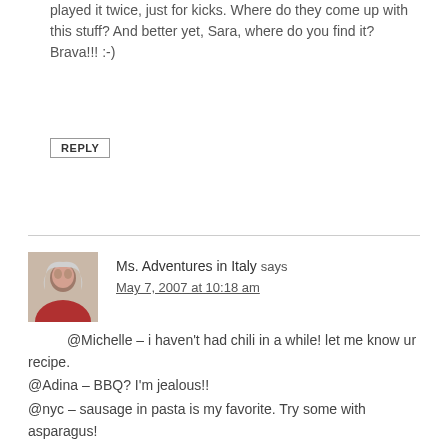played it twice, just for kicks. Where do they come up with this stuff? And better yet, Sara, where do you find it? Brava!!! :-)
REPLY
Ms. Adventures in Italy says
May 7, 2007 at 10:18 am
@Michelle – i haven't had chili in a while! let me know ur recipe.
@Adina – BBQ? I'm jealous!!
@nyc – sausage in pasta is my favorite. Try some with asparagus!
@Finny – you are plenty crafty, you don't need to cook, too :)
@Autumn – haha, that would definitely be satisfying
@sojourness – welcome! living in venice, eh? my